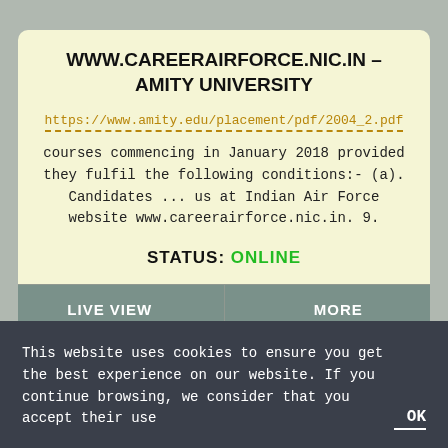WWW.CAREERAIRFORCE.NIC.IN - AMITY UNIVERSITY
https://www.amity.edu/placement/pdf/2004_2.pdf
courses commencing in January 2018 provided they fulfil the following conditions:- (a). Candidates ... us at Indian Air Force website www.careerairforce.nic.in. 9.
STATUS: ONLINE
LIVE VIEW
MORE
This website uses cookies to ensure you get the best experience on our website. If you continue browsing, we consider that you accept their use
OK